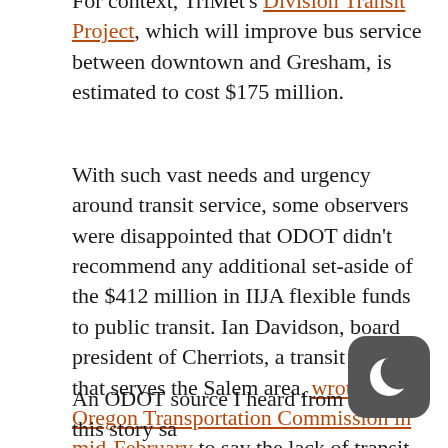For context, TriMet's Division Transit Project, which will improve bus service between downtown and Gresham, is estimated to cost $175 million.
With such vast needs and urgency around transit service, some observers were disappointed that ODOT didn't recommend any additional set-aside of the $412 million in IIJA flexible funds to public transit. Ian Davidson, board president of Cherriots, a transit system that serves the Salem area, wrote to the Oregon Transportation Commission in mid-February to say the lack of transit funding in the IIJA scenarios proposed by ODOT was, "surprising and disappointing."
An ODOT source I heard from for this story said the decision was made because ODOT knew this FTA allocation was on the way and that, taken together